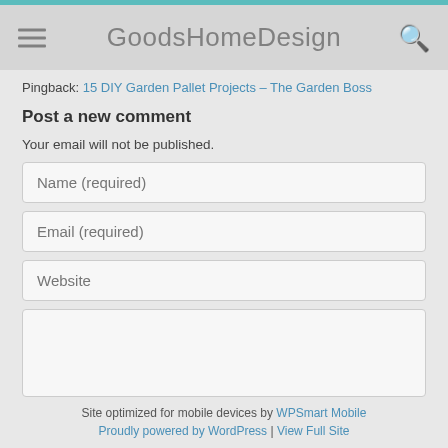GoodsHomeDesign
Pingback: 15 DIY Garden Pallet Projects – The Garden Boss
Post a new comment
Your email will not be published.
Name (required)
Email (required)
Website
Post Comment
Site optimized for mobile devices by WPSmart Mobile
Proudly powered by WordPress | View Full Site